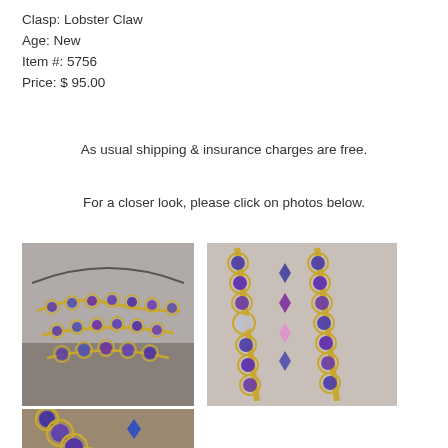Clasp: Lobster Claw
Age: New
Item #: 5756
Price: $ 95.00
As usual shipping & insurance charges are free.
For a closer look, please click on photos below.
[Figure (photo): Three close-up photos of a gold-tone necklace with purple/blue crystal beads set in decorative flower-shaped gold settings. Top-left shows the full necklace layout. Top-right shows a close-up of the beaded chain sections. Bottom-left shows another close-up of the gold flower and crystal bead details.]